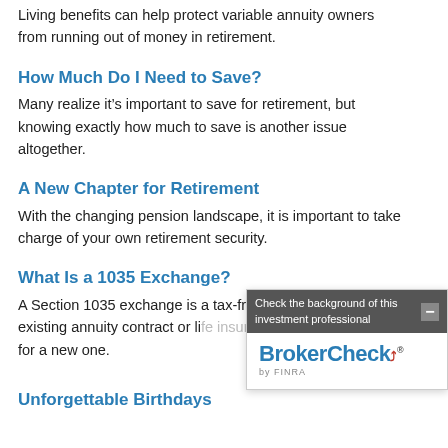Living benefits can help protect variable annuity owners from running out of money in retirement.
How Much Do I Need to Save?
Many realize it’s important to save for retirement, but knowing exactly how much to save is another issue altogether.
A New Chapter for Retirement
With the changing pension landscape, it is important to take charge of your own retirement security.
What Is a 1035 Exchange?
A Section 1035 exchange is a tax-free exchange of an existing annuity contract or li... for a new one.
[Figure (other): BrokerCheck by FINRA widget overlay with header 'Check the background of this investment professional' and BrokerCheck logo]
Unforgettable Birthdays